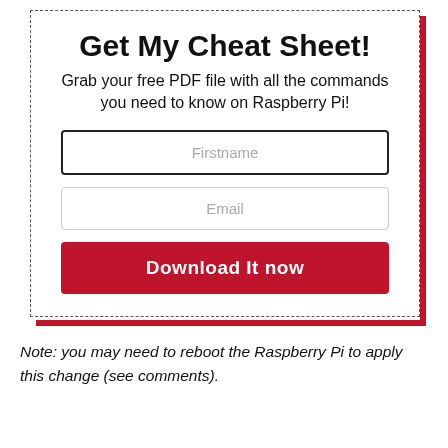Get My Cheat Sheet!
Grab your free PDF file with all the commands you need to know on Raspberry Pi!
[Figure (other): Web form with Firstname input field, Email input field, and a red Download It now button]
Note: you may need to reboot the Raspberry Pi to apply this change (see comments).